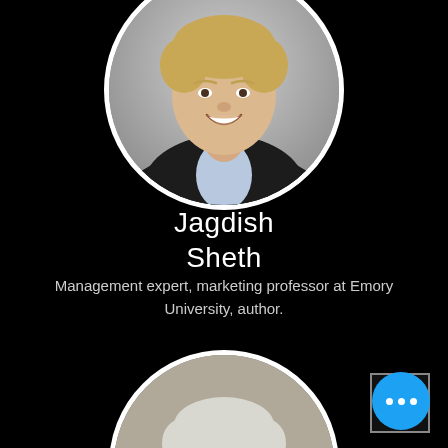[Figure (photo): Circular profile photo of Jagdish Sheth, a man with blond/gray hair wearing a dark suit jacket and light blue shirt, smiling, on a gray background. White circular border.]
Jagdish Sheth
Management expert, marketing professor at Emory University, author.
[Figure (photo): Circular profile photo of an older man with white/gray hair and beard, smiling, wearing a dark jacket. White circular border. Partially cropped at bottom of page.]